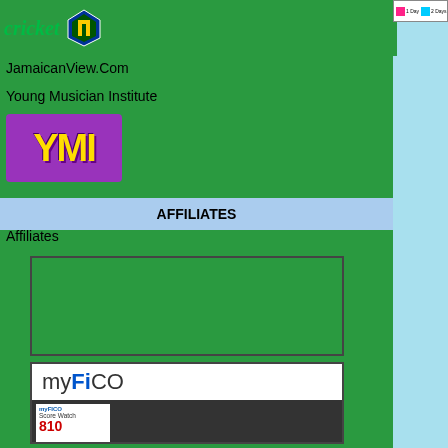[Figure (screenshot): Cricket logo with shield icon and text 'cricket']
JamaicanView.Com
Young Musician Institute
[Figure (logo): YMI logo in yellow and purple stylized text on purple background]
AFFILIATES
Affiliates
[Figure (screenshot): Affiliate banner ad placeholder with broken image icon]
[Figure (screenshot): myFICO Score Watch product advertisement box]
[Figure (screenshot): Legend strip showing 1 Day, 2 Days, 3 Days color indicators]